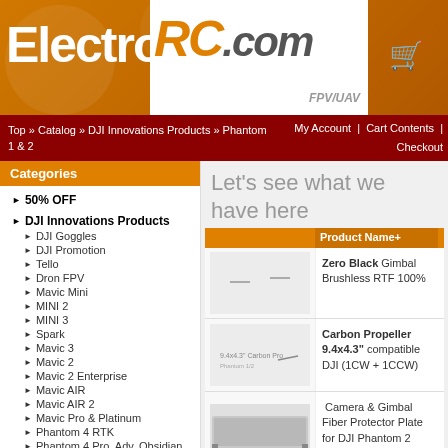[Figure (logo): ElectronicaRC.com logo with orange background and FPV/UAV text]
Top » Catalog » DJI Innovations Products » Phantom 1 & 2   My Account | Cart Contents | Checkout
Categories
50% OFF
DJI Innovations Products
DJI Goggles
DJI Promotion
Tello
Dron FPV
Mavic Mini
MINI 2
MINI 3
Spark
Mavic 3
Mavic 2
Mavic 2 Enterprise
Mavic AIR
Mavic AIR 2
Mavic Pro & Platinum
Phantom 4 RTK
Phantom 4 Pro, Adv, Obsidian
Phantom 3
Inspire 1
Inspire 2
Matrice 600 / 100 / Guidance
Matrice 200 / 210 / 210 RTK
CrystalSky
Let's see what we have here
|  | Product Name+ |  |
| --- | --- | --- |
| [drone image] | Zero Black Gimbal Brushless RTF 100% |  |
| [propeller image] | Carbon Propeller 9.4x4.3" compatible DJI (1CW + 1CCW) |  |
| [gimbal image] | Camera & Gimbal Fiber Protector Plate for DJI Phantom 2 Vision+ |  |